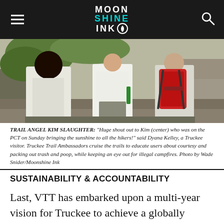MOON SHINE INK
[Figure (photo): Three hikers seen from behind/side on a trail. Left person in white top with dark hair, center person in white long-sleeve holding something green, right person wearing red backpack. Rocky terrain visible.]
TRAIL ANGEL KIM SLAUGHTER: "Huge shout out to Kim (center) who was on the PCT on Sunday bringing the sunshine to all the hikers!" said Dyana Kelley, a Truckee visitor. Truckee Trail Ambassadors cruise the trails to educate users about courtesy and packing out trash and poop, while keeping an eye out for illegal campfires. Photo by Wade Snider/Moonshine Ink
SUSTAINABILITY & ACCOUNTABILITY
Last, VTT has embarked upon a multi-year vision for Truckee to achieve a globally recognized Sustainable Destination Certification. Walking the talk involves the